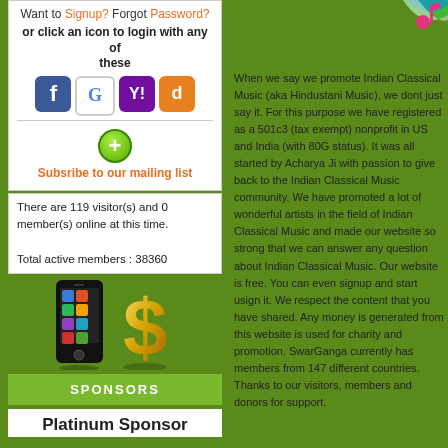Want to Signup? Forgot Password?
or click an icon to login with any of these
[Figure (screenshot): Social login icons: Facebook, Google, Yahoo, and one other service]
[Figure (illustration): Green plus icon button for subscribing to mailing list]
Subsribe to our mailing list
There are 119 visitor(s) and 0 member(s) online at this time.

Total active members : 38360
[Figure (photo): Smartphone and gold dollar sign images representing sponsors section]
SPONSORS
Platinum Sponsor
[Figure (illustration): Music note graphic in top right corner with colorful swirls]
When we say we promote Indian Classical Music (aka Hindustani Music), we dont just say it. For this purpose we have registered as a 501c3 (tax exempt) nonprofit in US and India (with 80G status). It was all started by Acharya Ji with passion to give back to the Indian Classical Music community. We have promoted a lot of wonderful artists in the field of Indian Classical Music and made our website so strong that we can answer any question about Indian Classical Music. Our website is free. You can even signup and start usign it. We respect the content that you have shared. Any money is generated from this website is used for charity and promotion. SwarGanga currently has members from 147 different countries. Thanks to our visitors, members and donors for support.